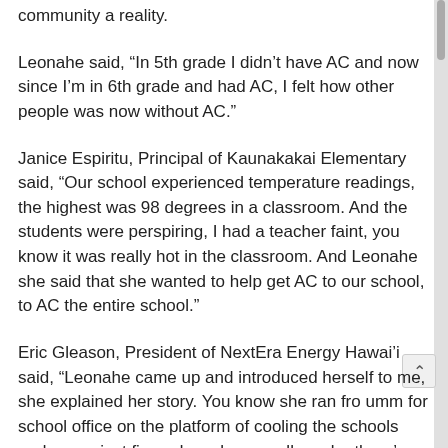community a reality.
Leonahe said, “In 5th grade I didn’t have AC and now since I’m in 6th grade and had AC, I felt how other people was now without AC.”
Janice Espiritu, Principal of Kaunakakai Elementary said, “Our school experienced temperature readings, the highest was 98 degrees in a classroom. And the students were perspiring, I had a teacher faint, you know it was really hot in the classroom. And Leonahe she said that she wanted to help get AC to our school, to AC the entire school.”
Eric Gleason, President of NextEra Energy Hawai’i said, “Leonahe came up and introduced herself to me, she explained her story. You know she ran fro umm for school office on the platform of cooling the schools and so we just figured you know well maybe there’s something we can do about that. We didn’t really know what we could do. And we met with the department of education